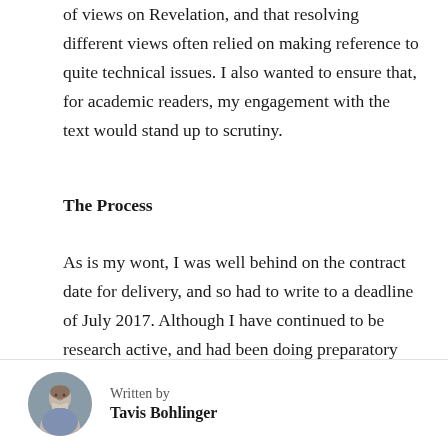of views on Revelation, and that resolving different views often relied on making reference to quite technical issues. I also wanted to ensure that, for academic readers, my engagement with the text would stand up to scrutiny.
The Process
As is my wont, I was well behind on the contract date for delivery, and so had to write to a deadline of July 2017. Although I have continued to be research active, and had been doing preparatory work over the previous two years, the main writing period was from November 2016 to July 2017. The final text was published in
Written by
Tavis Bohlinger